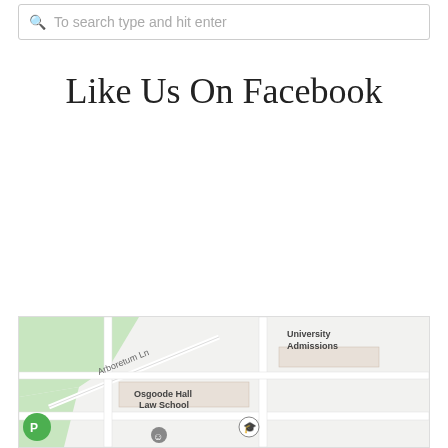To search type and hit enter
Like Us On Facebook
[Figure (map): Google Maps view showing Osgoode Hall Law School, Arboretum Ln, University Admissions area]